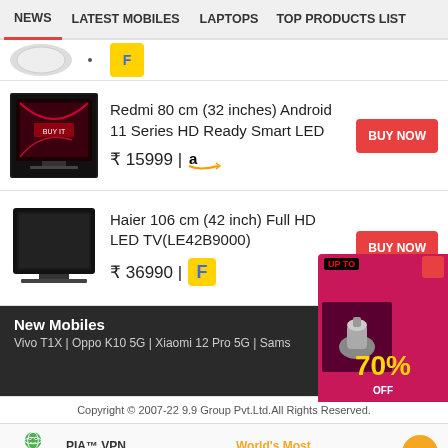NEWS | LATEST MOBILES | LAPTOPS | TOP PRODUCTS LIST
[Figure (screenshot): Partial top strip with product logos]
Redmi 80 cm (32 inches) Android 11 Series HD Ready Smart LED
₹ 15999 | Amazon
Haier 106 cm (42 inch) Full HD LED TV(LE42B9000)
₹ 36990 | Flipkart
New Mobiles
Vivo T1X | Oppo K10 5G | Xiaomi 12 Pro 5G | Sams...
Copyright © 2007-22 9.9 Group Pvt.Ltd.All Rights Reserved.
PIA™ VPN Official Site — World's Most Trusted VPN